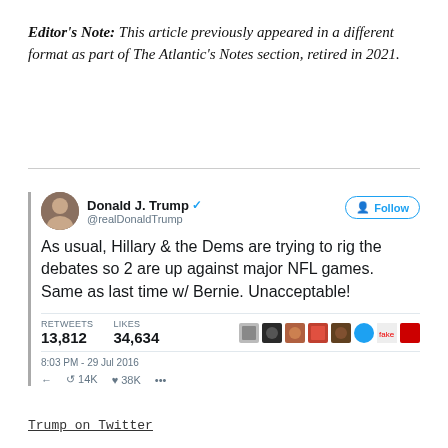Editor's Note: This article previously appeared in a different format as part of The Atlantic's Notes section, retired in 2021.
[Figure (screenshot): A screenshot of a tweet by Donald J. Trump (@realDonaldTrump) reading: 'As usual, Hillary & the Dems are trying to rig the debates so 2 are up against major NFL games. Same as last time w/ Bernie. Unacceptable!' with 13,812 retweets and 34,634 likes, posted at 8:03 PM - 29 Jul 2016.]
Trump on Twitter